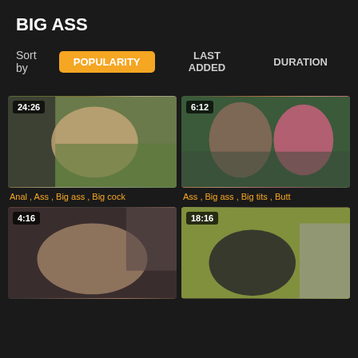BIG ASS
Sort by  POPULARITY  LAST ADDED  DURATION
[Figure (screenshot): Video thumbnail with duration badge 24:26, outdoor scene]
Anal , Ass , Big ass , Big cock
[Figure (screenshot): Video thumbnail with duration badge 6:12, two women on couch]
Ass , Big ass , Big tits , Butt
[Figure (screenshot): Video thumbnail with duration badge 4:16, indoor scene]
[Figure (screenshot): Video thumbnail with duration badge 18:16, laundry room scene]